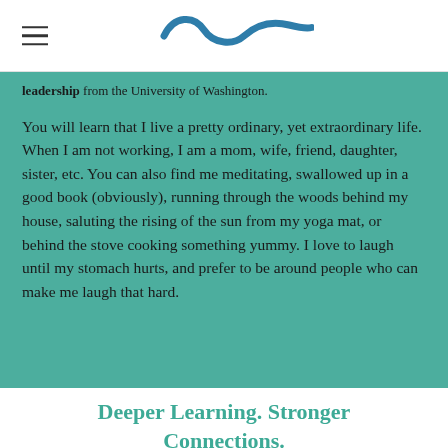[wave logo] [hamburger menu]
leadership from the University of Washington.
You will learn that I live a pretty ordinary, yet extraordinary life. When I am not working, I am a mom, wife, friend, daughter, sister, etc. You can also find me meditating, swallowed up in a good book (obviously), running through the woods behind my house, saluting the rising of the sun from my yoga mat, or behind the stove cooking something yummy. I love to laugh until my stomach hurts, and prefer to be around people who can make me laugh that hard.
Deeper Learning. Stronger Connections.